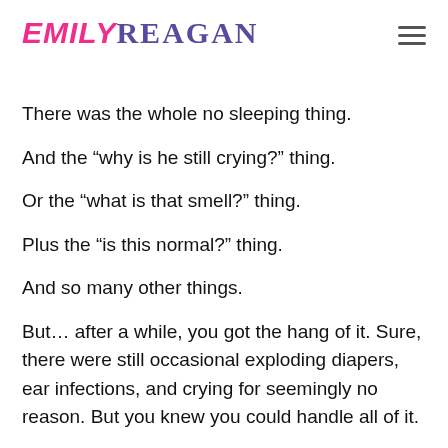EMILY REAGAN
There was the whole no sleeping thing.
And the “why is he still crying?” thing.
Or the “what is that smell?” thing.
Plus the “is this normal?” thing.
And so many other things.
But… after a while, you got the hang of it. Sure, there were still occasional exploding diapers, ear infections, and crying for seemingly no reason. But you knew you could handle all of it.